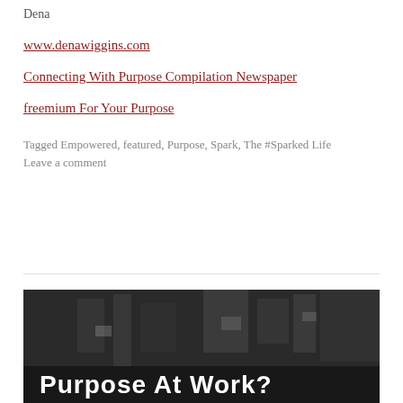Dena
www.denawiggins.com
Connecting With Purpose Compilation Newspaper
freemium For Your Purpose
Tagged Empowered, featured, Purpose, Spark, The #Sparked Life
Leave a comment
[Figure (photo): Black and white photo of a busy city scene with text overlay reading 'Purpose At Work?']